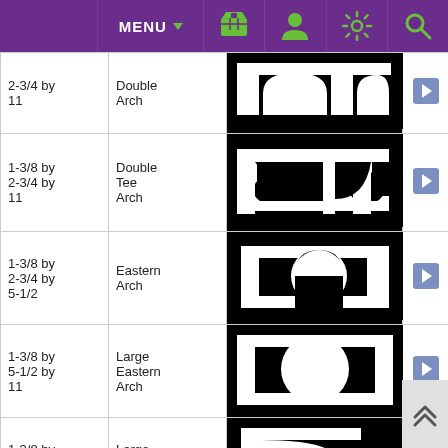MENU (navigation bar with icons: basket, person, settings, search)
| Size | Name | Image |  |
| --- | --- | --- | --- |
| 2-3/4 by 11 | Double Arch | [image] | ▶ |
| 1-3/8 by 2-3/4 by 11 | Double Tee Arch | [image] | ▶ |
| 1-3/8 by 2-3/4 by 5-1/2 | Eastern Arch | [image] | ▶ |
| 1-3/8 by 5-1/2 by 11 | Large Eastern Arch | [image] | ▶ |
| 1-3/8 by 2-3/4 by 5-1/2 | Large Eastern Arch Door | [image] | ▶ |
| 1-3/8 by 2-3/4 by 11 | Dbl Eastern Arch | [image] | ▶ |
| 1-3/8 by | Tall... | [image] | ▶ |